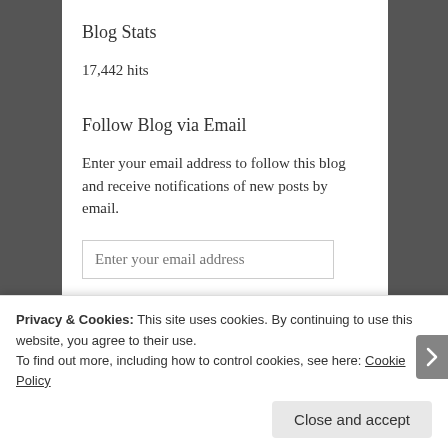Blog Stats
17,442 hits
Follow Blog via Email
Enter your email address to follow this blog and receive notifications of new posts by email.
Enter your email address [input field]
Follow [button]
Privacy & Cookies: This site uses cookies. By continuing to use this website, you agree to their use.
To find out more, including how to control cookies, see here: Cookie Policy
Close and accept